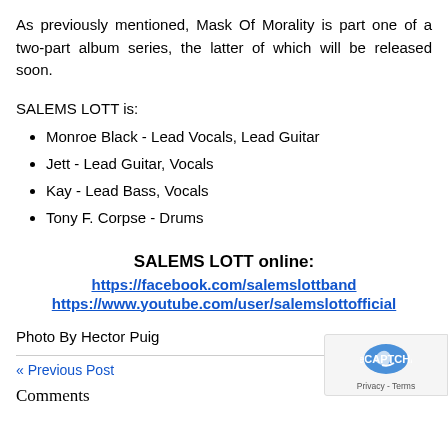As previously mentioned, Mask Of Morality is part one of a two-part album series, the latter of which will be released soon.
SALEMS LOTT is:
Monroe Black - Lead Vocals, Lead Guitar
Jett - Lead Guitar, Vocals
Kay - Lead Bass, Vocals
Tony F. Corpse - Drums
SALEMS LOTT online:
https://facebook.com/salemslottband
https://www.youtube.com/user/salemslottofficial
Photo By Hector Puig
« Previous Post   Next Post »
Comments